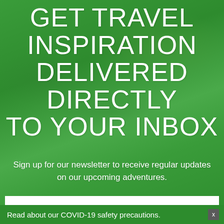GET TRAVEL INSPIRATION DELIVERED DIRECTLY TO YOUR INBOX
Sign up for our newsletter to receive regular updates on our upcoming adventures.
First Name
Last Name
Read about our COVID-19 safety precautions.